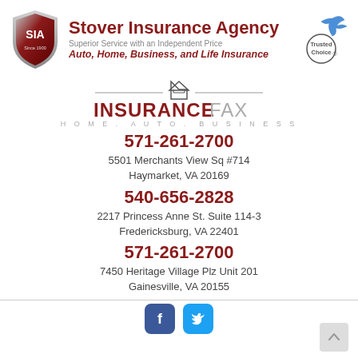[Figure (logo): SIA shield logo - dark red shield with SIA letters and 'Since 1900' text]
Stover Insurance Agency
Superior Service with an Independent Price
Auto, Home, Business, and Life Insurance
[Figure (logo): Trusted Choice logo with bird/eagle mark]
[Figure (logo): InsuranceFax logo - HOME. AUTO. BUSINESS.]
571-261-2700
5501 Merchants View Sq #714
Haymarket, VA 20169
540-656-2828
2217 Princess Anne St. Suite 114-3
Fredericksburg, VA 22401
571-261-2700
7450 Heritage Village Plz Unit 201
Gainesville, VA 20155
[Figure (logo): Facebook and Twitter social media icons]